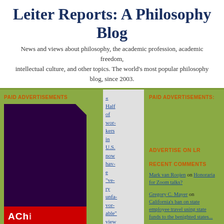Leiter Reports: A Philosophy Blog
News and views about philosophy, the academic profession, academic freedom, intellectual culture, and other topics. The world's most popular philosophy blog, since 2003.
PAID ADVERTISEMENTS
[Figure (photo): Dark purple book cover advertisement with red band at bottom containing white text beginning with 'ACh...']
« Half of workers in U.S. now have "very unfavorable" view of Trump | Mai...
PAID ADVERTISEMENTS:
ADVERTISE ON LR
RECENT COMMENTS
Mark van Roojen on Honoraria for Zoom talks?
Gregory C. Mayer on California's ban on state employee travel using state funds to the benighted states...